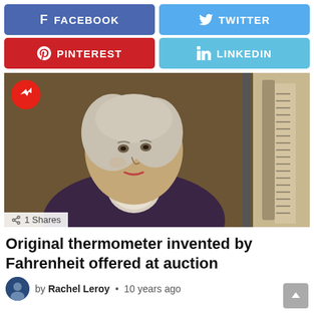[Figure (infographic): Social media share buttons: Facebook (blue), Twitter (light blue), Pinterest (red), LinkedIn (light blue)]
[Figure (photo): Portrait of Fahrenheit alongside an antique thermometer. Shares badge showing '1 Shares' bottom left. Red Buzzfeed trending badge top left.]
Original thermometer invented by Fahrenheit offered at auction
by Rachel Leroy · 10 years ago